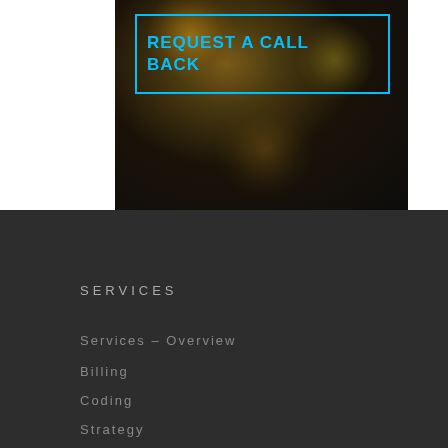[Figure (photo): Dark bokeh background image with warm golden/amber out-of-focus light circles on a dark background, with a 'REQUEST A CALL BACK' CTA button outlined in cyan/blue in the upper left portion of the image area]
REQUEST A CALL BACK
SERVICES
Services – Overview
Billing
Coding
Strategy